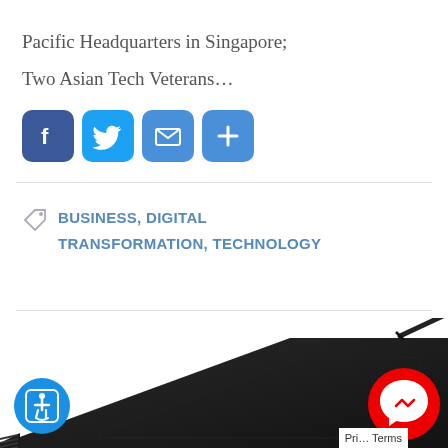Pacific Headquarters in Singapore;
Two Asian Tech Veterans…
[Figure (infographic): Social sharing icons: Facebook (blue), Twitter (blue), Email (blue envelope), More/Plus (blue)]
BUSINESS, DIGITAL TRANSFORMATION, TECHNOLOGY
[Figure (photo): A black graphics drawing tablet with a stylus pen, photographed from above at an angle.]
[Figure (other): Blue accessibility icon button (wheelchair symbol) in bottom left corner]
[Figure (other): Red Facebook Messenger icon button in bottom right corner]
Privacy Terms